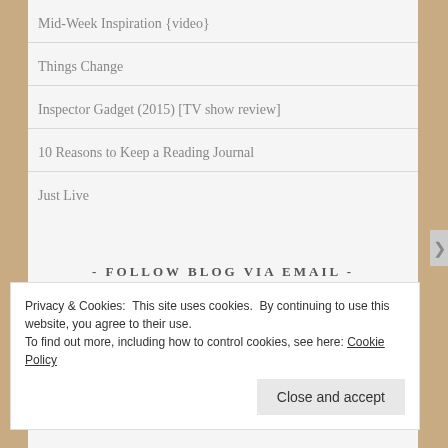Mid-Week Inspiration {video}
Things Change
Inspector Gadget (2015) [TV show review]
10 Reasons to Keep a Reading Journal
Just Live
- FOLLOW BLOG VIA EMAIL -
Enter your email address to follow this blog and receive...
Privacy & Cookies: This site uses cookies. By continuing to use this website, you agree to their use.
To find out more, including how to control cookies, see here: Cookie Policy
Close and accept